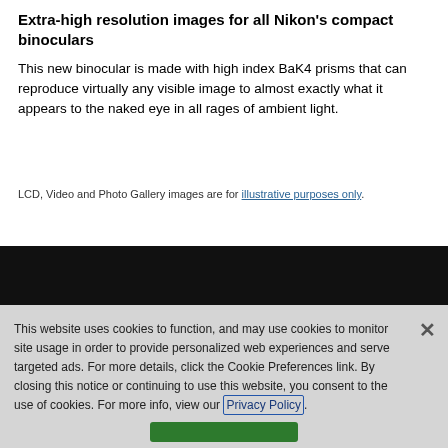Extra-high resolution images for all Nikon's compact binoculars
This new binocular is made with high index BaK4 prisms that can reproduce virtually any visible image to almost exactly what it appears to the naked eye in all rages of ambient light.
LCD, Video and Photo Gallery images are for illustrative purposes only.
[Figure (screenshot): Dark banner section of a Nikon website page, partially visible with large bold text in grey on black background]
This website uses cookies to function, and may use cookies to monitor site usage in order to provide personalized web experiences and serve targeted ads. For more details, click the Cookie Preferences link. By closing this notice or continuing to use this website, you consent to the use of cookies. For more info, view our Privacy Policy.